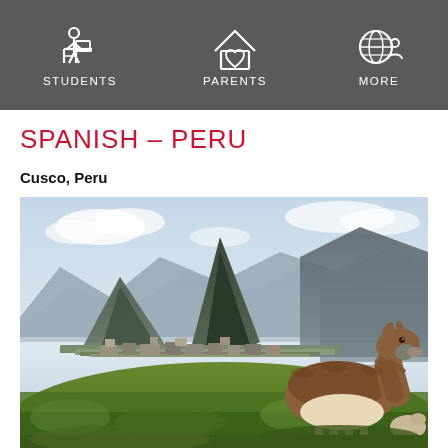STUDENTS | PARENTS | MORE
SPANISH – PERU
Cusco, Peru
[Figure (photo): Photograph of Machu Picchu with a llama grazing in the foreground, mountains and ruins in the background]